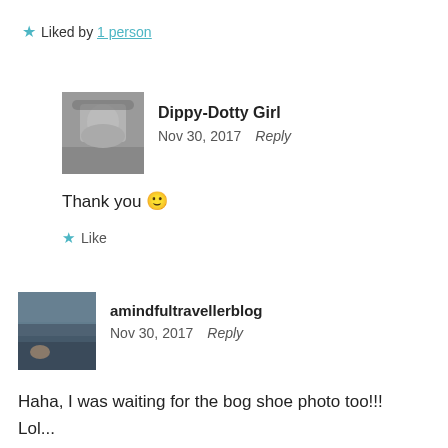★ Liked by 1 person
[Figure (photo): Black and white avatar photo of a young girl — Dippy-Dotty Girl]
Dippy-Dotty Girl
Nov 30, 2017   Reply
Thank you 🙂
★ Like
[Figure (photo): Landscape/outdoor photo avatar for amindfultravellerblog]
amindfultravellerblog
Nov 30, 2017   Reply
Haha, I was waiting for the bog shoe photo too!!!
Lol...